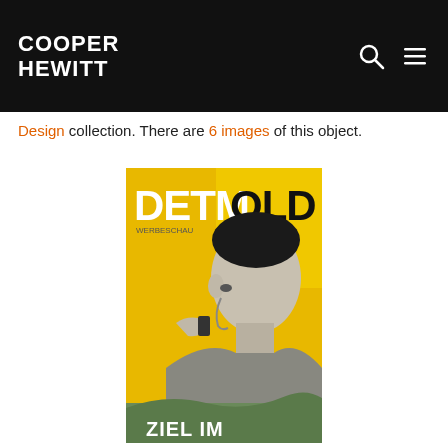COOPER HEWITT
Design collection. There are 6 images of this object.
[Figure (photo): A vintage poster for Detmold featuring bold text 'DETMOLD' at the top and a black-and-white photomontage of a person looking through a viewfinder or similar device, with a yellow/golden background. Partial text 'ZIEL IM' visible at the bottom.]